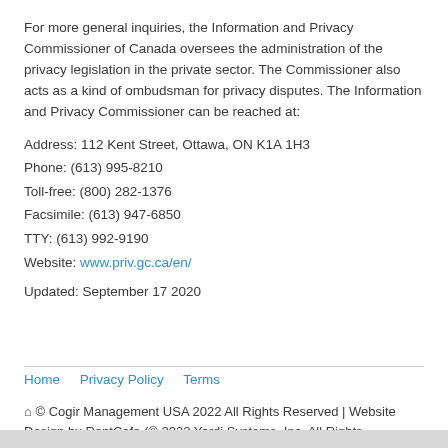For more general inquiries, the Information and Privacy Commissioner of Canada oversees the administration of the privacy legislation in the private sector. The Commissioner also acts as a kind of ombudsman for privacy disputes. The Information and Privacy Commissioner can be reached at:
Address: 112 Kent Street, Ottawa, ON K1A 1H3
Phone: (613) 995-8210
Toll-free: (800) 282-1376
Facsimile: (613) 947-6850
TTY: (613) 992-9190
Website: www.priv.gc.ca/en/
Updated: September 17 2020
Home   Privacy Policy   Terms
⌂ © Cogir Management USA 2022 All Rights Reserved | Website Design by RentCafe (© 2022 Yardi Systems, Inc. All Rights Reserved.)